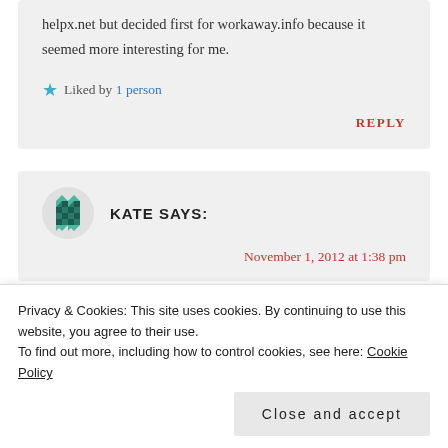helpx.net but decided first for workaway.info because it seemed more interesting for me.
Liked by 1 person
REPLY
KATE SAYS:
November 1, 2012 at 1:38 pm
Privacy & Cookies: This site uses cookies. By continuing to use this website, you agree to their use. To find out more, including how to control cookies, see here: Cookie Policy
Close and accept
beginning to think it is a scam. Has